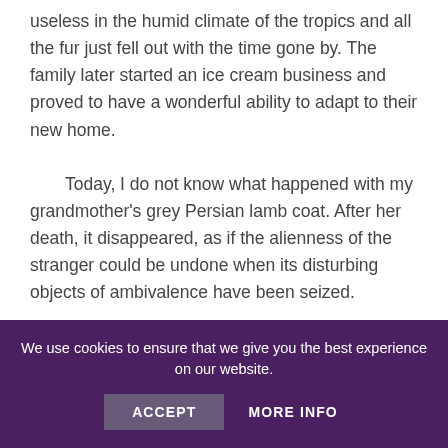useless in the humid climate of the tropics and all the fur just fell out with the time gone by. The family later started an ice cream business and proved to have a wonderful ability to adapt to their new home.
	Today, I do not know what happened with my grandmother's grey Persian lamb coat. After her death, it disappeared, as if the alienness of the stranger could be undone when its disturbing objects of ambivalence have been seized.
Share this:
[Figure (infographic): Social media share icons: Facebook (blue circle), Twitter (light blue circle), WhatsApp (green circle), LinkedIn (dark blue circle), Pinterest (red circle), Print (grey circle)]
We use cookies to ensure that we give you the best experience on our website.
ACCEPT   MORE INFO